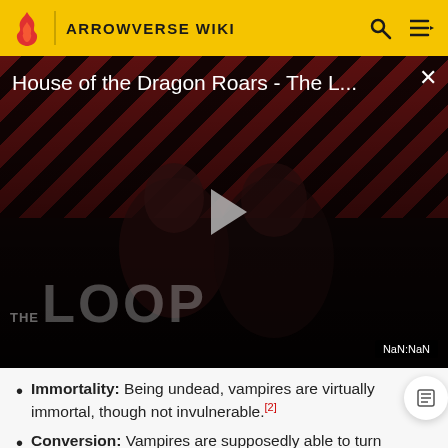ARROWVERSE WIKI
[Figure (screenshot): Video player showing 'House of the Dragon Roars - The L...' with a play button, THE LOOP branding, dark background with red diagonal stripes, and two people visible. Timer shows NaN:NaN.]
Immortality: Being undead, vampires are virtually immortal, though not invulnerable.[2]
Conversion: Vampires are supposedly able to turn those that they bite into their own kind, unless the [3]